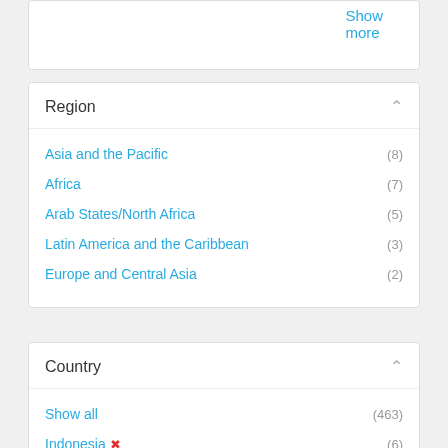Show more
Region
Asia and the Pacific (8)
Africa (7)
Arab States/North Africa (5)
Latin America and the Caribbean (3)
Europe and Central Asia (2)
Country
Show all (463)
Indonesia ✗ (6)
Libya ✗ (1)
Tajikistan ✗ (1)
Philippines (27)